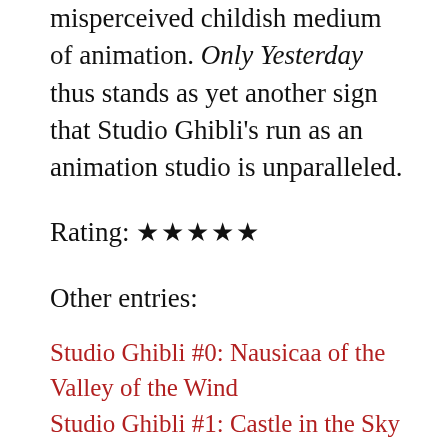misperceived childish medium of animation. Only Yesterday thus stands as yet another sign that Studio Ghibli's run as an animation studio is unparalleled.
Rating: ★★★★★
Other entries:
Studio Ghibli #0: Nausicaa of the Valley of the Wind
Studio Ghibli #1: Castle in the Sky
Studio Ghibli #2: Grave of the Fireflies
Studio Ghibli #3: My Neighbor Totoro
Studio Ghibli #4: Kiki's Delivery Service